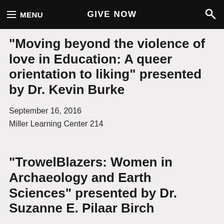MENU   GIVE NOW   [search]
"Moving beyond the violence of love in Education: A queer orientation to liking" presented by Dr. Kevin Burke
September 16, 2016
Miller Learning Center 214
"TrowelBlazers: Women in Archaeology and Earth Sciences" presented by Dr. Suzanne E. Pilaar Birch